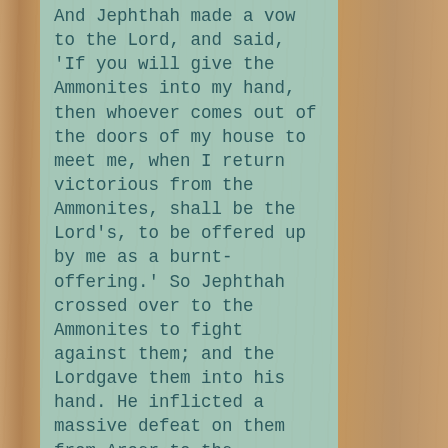And Jephthah made a vow to the Lord, and said, 'If you will give the Ammonites into my hand, then whoever comes out of the doors of my house to meet me, when I return victorious from the Ammonites, shall be the Lord's, to be offered up by me as a burnt-offering.' So Jephthah crossed over to the Ammonites to fight against them; and the Lordgave them into his hand. He inflicted a massive defeat on them from Aroer to the neighbourhood of Minnith, twenty towns, and as far as Abel-keramim. So the Ammonites were subdued before the people of Israel.

Then Jephthah came to his home at Mizpah; and there was his daughter coming out to meet him with timbrels and with dancing. She was his only child; he had no son or daughter except her. When he saw